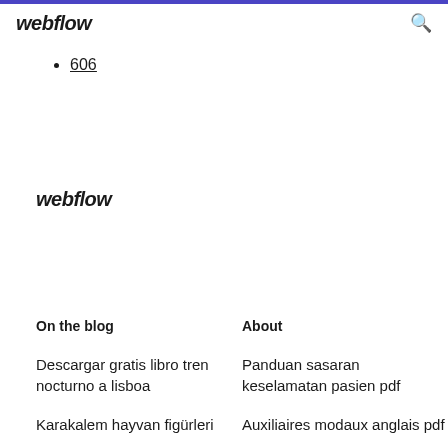webflow
606
webflow
On the blog
About
Descargar gratis libro tren nocturno a lisboa
Panduan sasaran keselamatan pasien pdf
Karakalem hayvan figürleri
Auxiliaires modaux anglais pdf